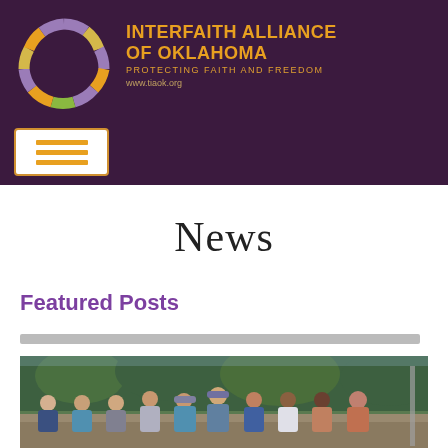[Figure (logo): Interfaith Alliance of Oklahoma header banner with purple background, circular multi-colored logo, organization name in orange/gold, and hamburger menu button]
News
Featured Posts
[Figure (photo): Group photo of approximately 10 people standing outdoors at what appears to be a construction or community service site, with trees in the background]